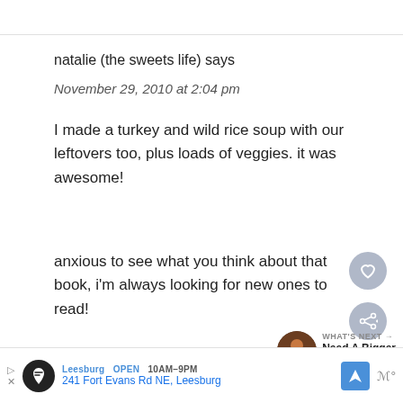natalie (the sweets life) says
November 29, 2010 at 2:04 pm
I made a turkey and wild rice soup with our leftovers too, plus loads of veggies. it was awesome!
anxious to see what you think about that book, i'm always looking for new ones to read!
Reply
Leesburg OPEN 10AM–9PM 241 Fort Evans Rd NE, Leesburg